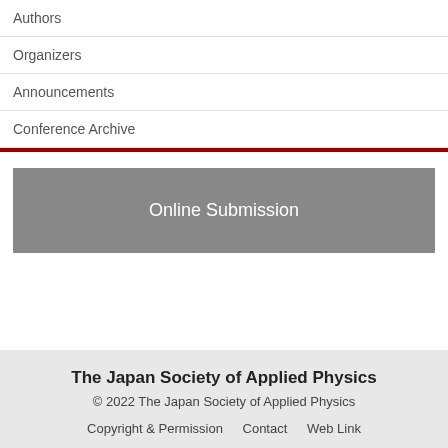Authors
Organizers
Announcements
Conference Archive
Online Submission
The Japan Society of Applied Physics
© 2022 The Japan Society of Applied Physics
Copyright & Permission   Contact   Web Link